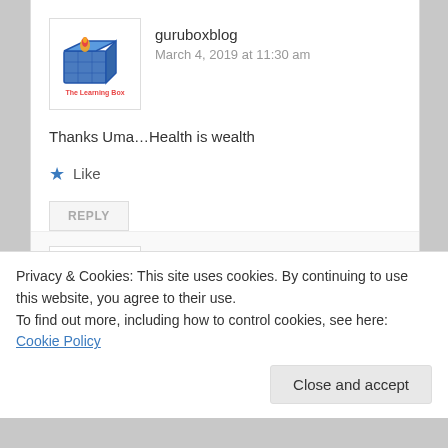guruboxblog
March 4, 2019 at 11:30 am
Thanks Uma…Health is wealth
Like
REPLY
[Figure (logo): The Learning Box logo - cube with flame icon]
guruboxblog
March 4, 2019 at 11:30 am
Wait for the next article about meditation – Why we
Privacy & Cookies: This site uses cookies. By continuing to use this website, you agree to their use.
To find out more, including how to control cookies, see here: Cookie Policy
Close and accept